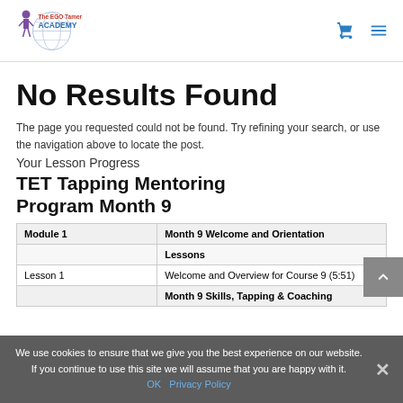[Figure (logo): The EGO Tamer Academy logo with stylized character and globe graphic]
No Results Found
The page you requested could not be found. Try refining your search, or use the navigation above to locate the post.
Your Lesson Progress
TET Tapping Mentoring Program Month 9
| Module 1 | Month 9 Welcome and Orientation |
| --- | --- |
|  | Lessons |
| Lesson 1 | Welcome and Overview for Course 9 (5:51) |
|  | Month 9 Skills, Tapping & Coaching |
We use cookies to ensure that we give you the best experience on our website. If you continue to use this site we will assume that you are happy with it.